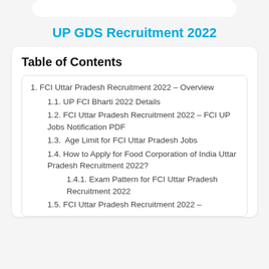UP GDS Recruitment 2022
Table of Contents
1. FCI Uttar Pradesh Recruitment 2022 – Overview
1.1. UP FCI Bharti 2022 Details
1.2. FCI Uttar Pradesh Recruitment 2022 – FCI UP Jobs Notification PDF
1.3. Age Limit for FCI Uttar Pradesh Jobs
1.4. How to Apply for Food Corporation of India Uttar Pradesh Recruitment 2022?
1.4.1. Exam Pattern for FCI Uttar Pradesh Recruitment 2022
1.5. FCI Uttar Pradesh Recruitment 2022 –